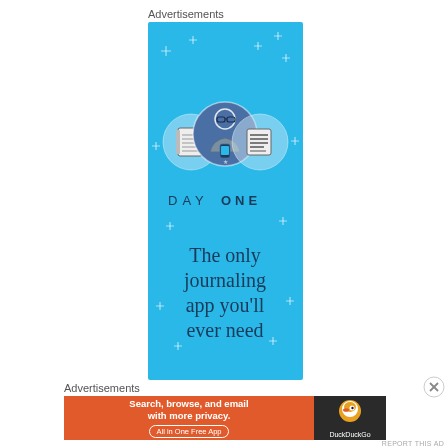Advertisements
[Figure (illustration): Day One journaling app advertisement. Blue background with sparkle dots. Three circular icons at top showing a notebook, a person holding a phone, and a list/document. Below the icons is the text 'DAY ONE' in spaced capital letters. At the bottom large text reads 'The only journaling app you'll ever need'.]
Advertisements
[Figure (illustration): DuckDuckGo advertisement. Orange background on left side with white bold text 'Search, browse, and email with more privacy.' and a button 'All in One Free App'. Dark right side with DuckDuckGo duck logo and 'DuckDuckGo' text in white.]